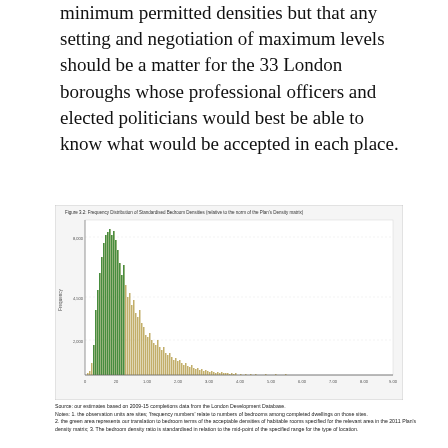minimum permitted densities but that any setting and negotiation of maximum levels should be a matter for the 33 London boroughs whose professional officers and elected politicians would best be able to know what would be accepted in each place.
[Figure (histogram): Histogram showing frequency distribution of standardised bedroom densities relative to the norm of the Plan's Density matrix. Green bars represent acceptable densities (around 0.20-0.60 range), olive/tan bars extend to the right showing higher densities. Y-axis shows frequency with markers at 2,000, 4,500, 8,000. X-axis runs from 0 to 10.00.]
Source: our estimates based on 2009-15 completions data from the London Development Database. Notes: 1. the observation units are sites; 'frequency numbers' relate to numbers of bedrooms among completed dwellings on those sites. 2. the green area represents our translation to bedroom terms of the acceptable densities of habitable rooms specified for the relevant area in the 2011 Plan's density matrix; 3. The bedroom density ratio is standardised in relation to the mid-point of the specified range for the type of location.